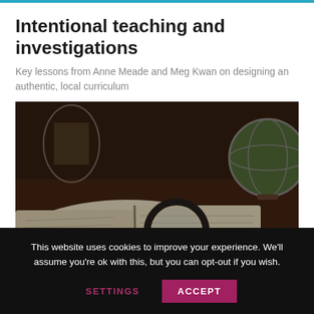Intentional teaching and investigations
Key lessons from Anne Meade and Meg Kwan on designing an authentic, local curriculum
[Figure (photo): A magnifying glass and pen resting on an open book, with a globe visible in the background, dark moody tones]
This website uses cookies to improve your experience. We'll assume you're ok with this, but you can opt-out if you wish.
SETTINGS   ACCEPT